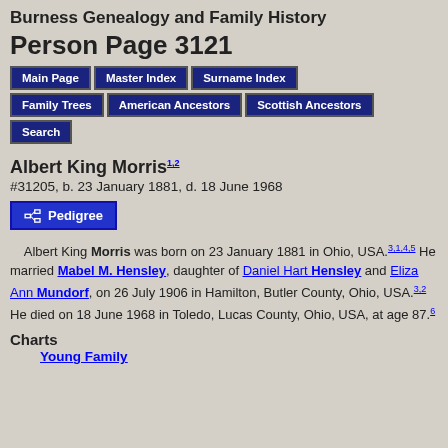Burness Genealogy and Family History
Person Page 3121
Main Page | Master Index | Surname Index | Family Trees | American Ancestors | Scottish Ancestors | Search
Albert King Morris 1,2
#31205, b. 23 January 1881, d. 18 June 1968
Pedigree
Albert King Morris was born on 23 January 1881 in Ohio, USA.3,1,4,5 He married Mabel M. Hensley, daughter of Daniel Hart Hensley and Eliza Ann Mundorf, on 26 July 1906 in Hamilton, Butler County, Ohio, USA.3,2 He died on 18 June 1968 in Toledo, Lucas County, Ohio, USA, at age 87.6
Charts
Young Family